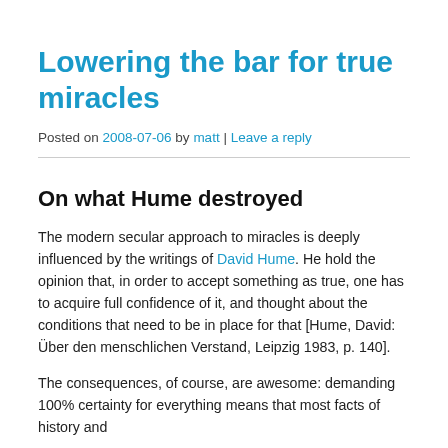Lowering the bar for true miracles
Posted on 2008-07-06 by matt | Leave a reply
On what Hume destroyed
The modern secular approach to miracles is deeply influenced by the writings of David Hume. He hold the opinion that, in order to accept something as true, one has to acquire full confidence of it, and thought about the conditions that need to be in place for that [Hume, David: Über den menschlichen Verstand, Leipzig 1983, p. 140].
The consequences, of course, are awesome: demanding 100% certainty for everything means that most facts of history and